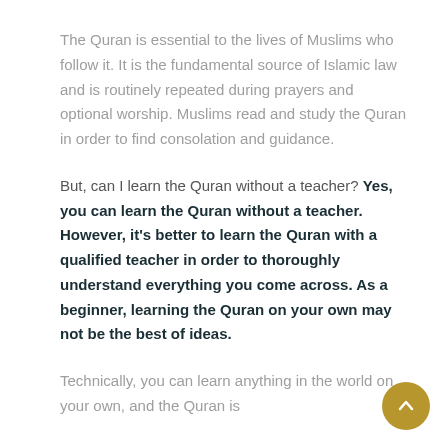The Quran is essential to the lives of Muslims who follow it. It is the fundamental source of Islamic law and is routinely repeated during prayers and optional worship. Muslims read and study the Quran in order to find consolation and guidance.
But, can I learn the Quran without a teacher? Yes, you can learn the Quran without a teacher. However, it's better to learn the Quran with a qualified teacher in order to thoroughly understand everything you come across. As a beginner, learning the Quran on your own may not be the best of ideas.
Technically, you can learn anything in the world on your own, and the Quran is